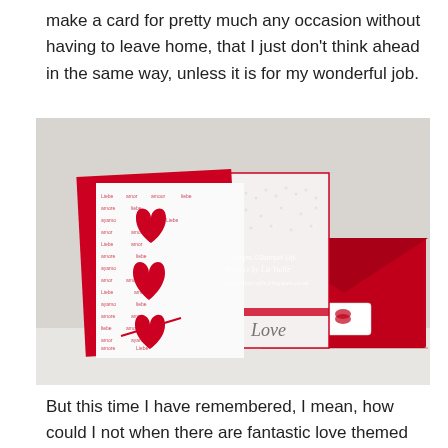make a card for pretty much any occasion without having to leave home, that I just don't think ahead in the same way, unless it is for my wonderful job.
[Figure (photo): A valentine's day card and envelope set. The card features red heart cutouts on a red-and-white patterned paper with love words, paired with a white embossed card panel and a red envelope. A tag reads 'Love'. Watermark text reads 'Images ©Stampin' Up! Project by Liz Yuille oldstablescrafts.blogspot.co.uk'.]
But this time I have remembered, I mean, how could I not when there are fantastic love themed suites to choose from. Our anniversary is in late November, and as I am a Demonstrator AND I went to the Stampin' Up! convention in